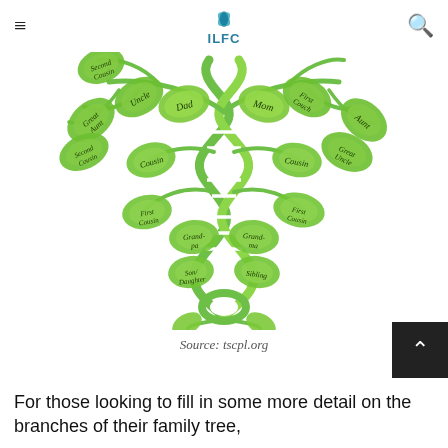ILFC
[Figure (illustration): A decorative family tree illustration featuring a DNA double helix strand as the trunk, with green leaf shapes branching outward. Each leaf is labeled with a family relationship: Dad, Mom, Uncle, Great Aunt, Second Cousin, First Cousin, Aunt, Great Uncle, Second First Cousin, First Cousin (right), Grandpa, Grandma, and other relatives. The design combines genetic/DNA imagery with a traditional family tree concept, rendered in shades of green.]
Source: tscpl.org
For those looking to fill in some more detail on the branches of their family tree,